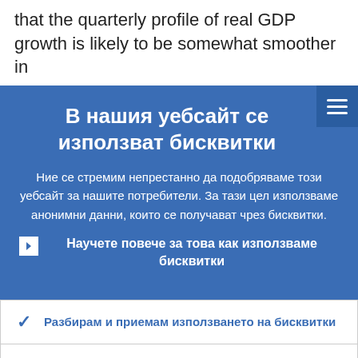that the quarterly profile of real GDP growth is likely to be somewhat smoother in
В нашия уебсайт се използват бисквитки
Ние се стремим непрестанно да подобряваме този уебсайт за нашите потребители. За тази цел използваме анонимни данни, които се получават чрез бисквитки.
Научете повече за това как използваме бисквитки
Разбирам и приемам използването на бисквитки
Не приемам използването на бисквитки